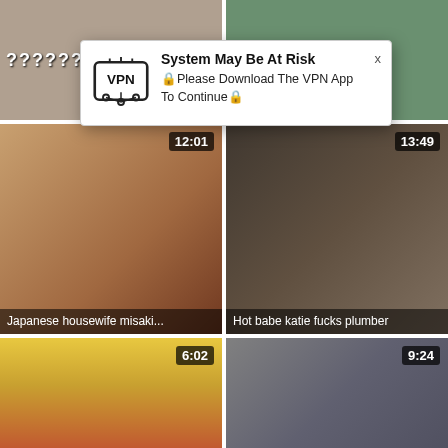[Figure (screenshot): Adult video thumbnail top-left with question marks overlay]
[Figure (screenshot): Adult video thumbnail top-right blurred]
[Figure (screenshot): Popup notification: System May Be At Risk. Please Download The VPN App To Continue]
[Figure (screenshot): Adult video thumbnail mid-left, duration 12:01, label: Japanese housewife misaki...]
[Figure (screenshot): Adult video thumbnail mid-right, duration 13:49, label: Hot babe katie fucks plumber]
[Figure (screenshot): Adult video thumbnail bottom-left, duration 6:02]
[Figure (screenshot): Adult video thumbnail bottom-right, duration 9:24]